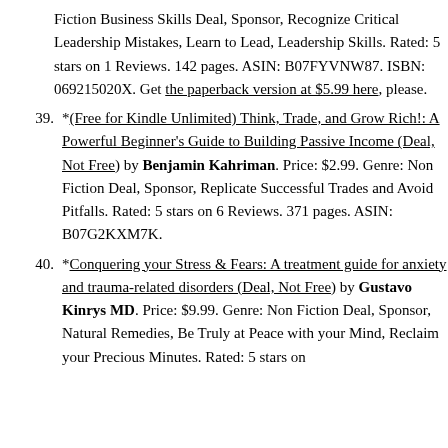Fiction Business Skills Deal, Sponsor, Recognize Critical Leadership Mistakes, Learn to Lead, Leadership Skills. Rated: 5 stars on 1 Reviews. 142 pages. ASIN: B07FYVNW87. ISBN: 069215020X. Get the paperback version at $5.99 here, please.
39. *(Free for Kindle Unlimited) Think, Trade, and Grow Rich!: A Powerful Beginner's Guide to Building Passive Income (Deal, Not Free) by Benjamin Kahriman. Price: $2.99. Genre: Non Fiction Deal, Sponsor, Replicate Successful Trades and Avoid Pitfalls. Rated: 5 stars on 6 Reviews. 371 pages. ASIN: B07G2KXM7K.
40. *Conquering your Stress & Fears: A treatment guide for anxiety and trauma-related disorders (Deal, Not Free) by Gustavo Kinrys MD. Price: $9.99. Genre: Non Fiction Deal, Sponsor, Natural Remedies, Be Truly at Peace with your Mind, Reclaim your Precious Minutes. Rated: 5 stars on